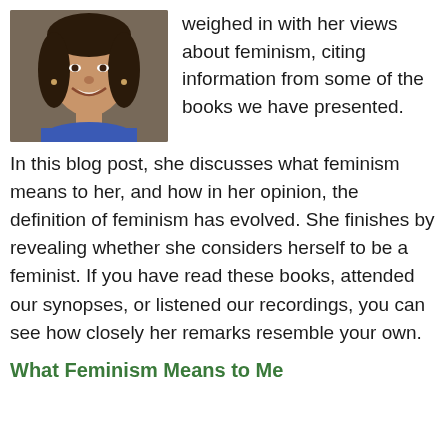[Figure (photo): Headshot photo of a young woman with long dark hair, smiling, wearing a blue top]
weighed in with her views about feminism, citing information from some of the books we have presented.  In this blog post, she discusses what feminism means to her, and how in her opinion, the definition of feminism has evolved.  She finishes by revealing whether she considers herself to be a feminist.  If you have read these books, attended our synopses, or listened our recordings, you can see how closely her remarks resemble your own.
What Feminism Means to Me